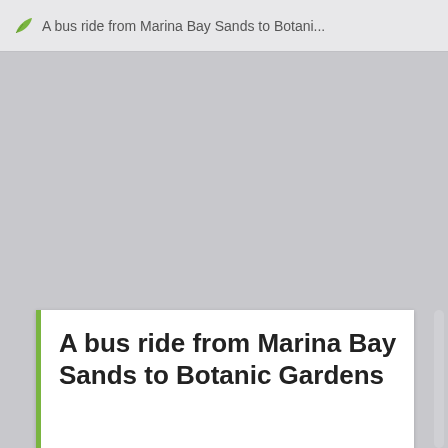A bus ride from Marina Bay Sands to Botani...
A bus ride from Marina Bay Sands to Botanic Gardens
[Figure (photo): Evening/blue-hour photograph of Gardens by the Bay, Singapore, showing a wooden boardwalk leading into the distance, Supertree structures lit up in orange on the right, a rocky sculpture on the left partially reflected in still water, with lush greenery and a blue sky with light clouds in the background.]